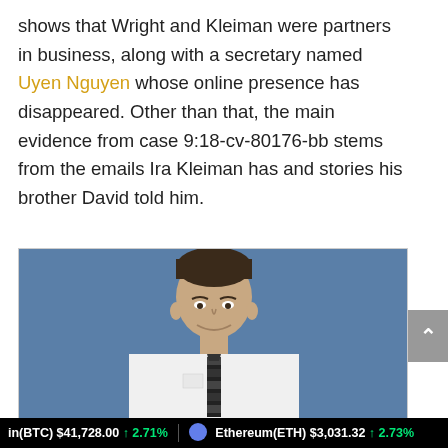shows that Wright and Kleiman were partners in business, along with a secretary named Uyen Nguyen whose online presence has disappeared. Other than that, the main evidence from case 9:18-cv-80176-bb stems from the emails Ira Kleiman has and stories his brother David told him.
[Figure (photo): A man in a white dress shirt and checkered tie posing in front of a blue background, smiling at the camera.]
in(BTC) $41,728.00 ↑ 2.71%   Ethereum(ETH) $3,031.32 ↑ 2.73%